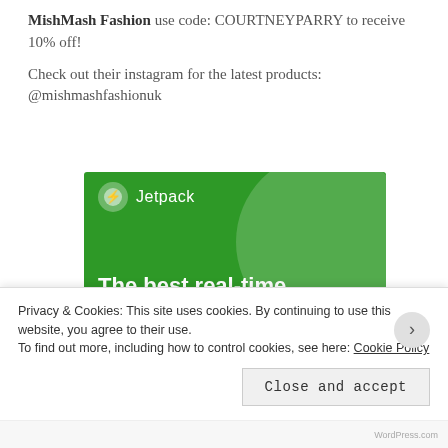MishMash Fashion use code: COURTNEYPARRY to receive 10% off!
Check out their instagram for the latest products: @mishmashfashionuk
[Figure (illustration): Jetpack WordPress plugin advertisement banner. Green background with large lighter green circle, Jetpack logo and name at top, headline 'The best real-time WordPress backup plugin', and a white button reading 'Back up your site'.]
Privacy & Cookies: This site uses cookies. By continuing to use this website, you agree to their use.
To find out more, including how to control cookies, see here: Cookie Policy
Close and accept